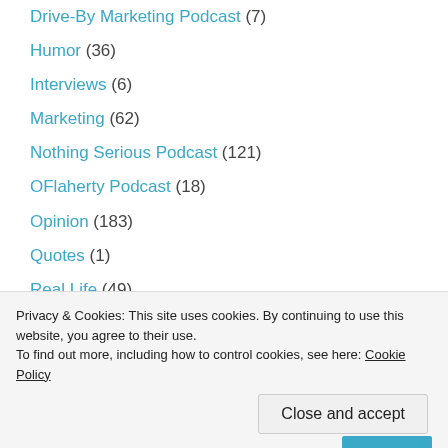Drive-By Marketing Podcast (7)
Humor (36)
Interviews (6)
Marketing (62)
Nothing Serious Podcast (121)
OFlaherty Podcast (18)
Opinion (183)
Quotes (1)
Real Life (49)
Technology (124)
Privacy & Cookies: This site uses cookies. By continuing to use this website, you agree to their use.
To find out more, including how to control cookies, see here: Cookie Policy
Close and accept